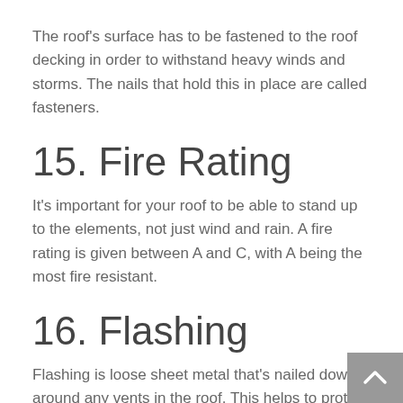The roof's surface has to be fastened to the roof decking in order to withstand heavy winds and storms. The nails that hold this in place are called fasteners.
15. Fire Rating
It's important for your roof to be able to stand up to the elements, not just wind and rain. A fire rating is given between A and C, with A being the most fire resistant.
16. Flashing
Flashing is loose sheet metal that's nailed down around any vents in the roof. This helps to protect